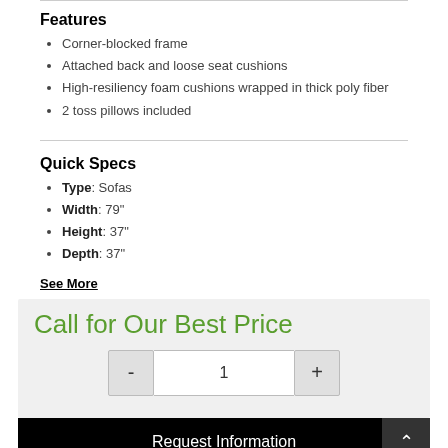Features
Corner-blocked frame
Attached back and loose seat cushions
High-resiliency foam cushions wrapped in thick poly fiber
2 toss pillows included
Quick Specs
Type: Sofas
Width: 79"
Height: 37"
Depth: 37"
See More
Call for Our Best Price
1
Request Information